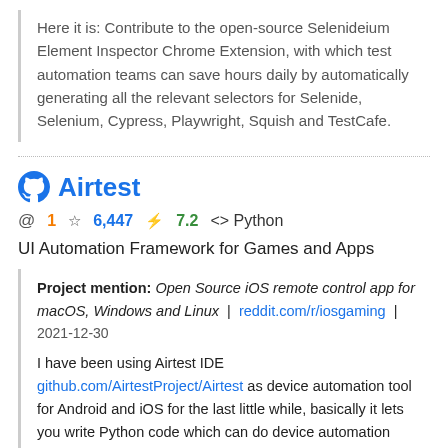Here it is: Contribute to the open-source Selenideium Element Inspector Chrome Extension, with which test automation teams can save hours daily by automatically generating all the relevant selectors for Selenide, Selenium, Cypress, Playwright, Squish and TestCafe.
Airtest
@ 1  ☆ 6,447  ⚡ 7.2  <> Python
UI Automation Framework for Games and Apps
Project mention: Open Source iOS remote control app for macOS, Windows and Linux  |  reddit.com/r/iosgaming  |  2021-12-30
I have been using Airtest IDE github.com/AirtestProject/Airtest as device automation tool for Android and iOS for the last little while, basically it lets you write Python code which can do device automation with image recognition etc. It works pretty well on Android Emulators so I used to use it to setup macro farming where the built-in macro function was lacking as it doesn't